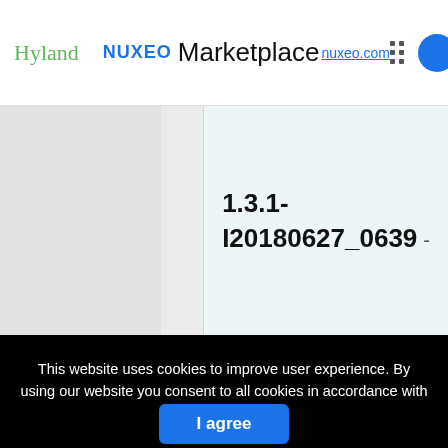Hyland | nuxeo Marketplace nuxeo.com
1.3.1-I20180627_0639
This website uses cookies to improve user experience. By using our website you consent to all cookies in accordance with our Cookie Policy.
I agree